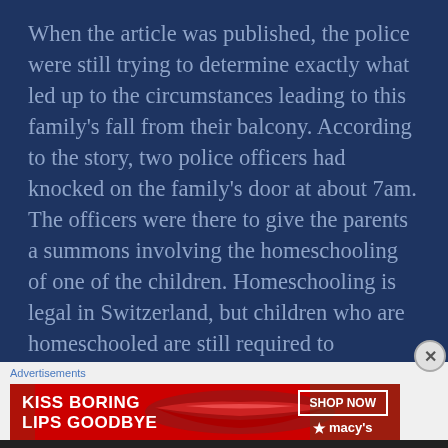When the article was published, the police were still trying to determine exactly what led up to the circumstances leading to this family's fall from their balcony. According to the story, two police officers had knocked on the family's door at about 7am. The officers were there to give the parents a summons involving the homeschooling of one of the children. Homeschooling is legal in Switzerland, but children who are homeschooled are still required to
Advertisements
[Figure (other): Advertisement banner with red background showing 'KISS BORING LIPS GOODBYE' text with a close-up of woman's lips and 'SHOP NOW' button with Macy's logo]